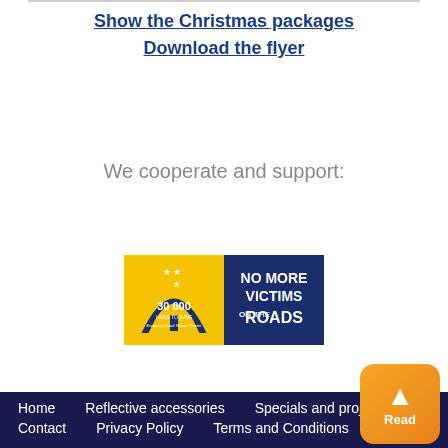Show the Christmas packages
Download the flyer
We cooperate and support:
[Figure (logo): European Road Safety Charter logo: yellow left half with road/arc graphic, stars, '30 000 LIVES TO SAVE', blue right half with 'NO MORE VICTIMS ON THE ROADS' in large white text]
Home   Reflective accessories   Specials and projects   Contact   Privacy Policy   Terms and Conditions